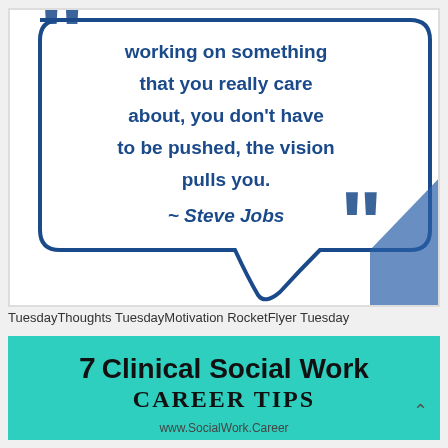[Figure (illustration): Speech bubble illustration with a Steve Jobs quote in dark blue bold text on white background, with decorative large quotation marks and a blue triangle corner accent. Text reads: 'working on something that you really care about, you don't have to be pushed, the vision pulls you. ~ Steve Jobs']
TuesdayThoughts TuesdayMotivation RocketFlyer Tuesday
[Figure (infographic): Teal/turquoise banner with bold black text reading '7 Clinical Social Work Career Tips' and URL www.SocialWork.Career at the bottom]